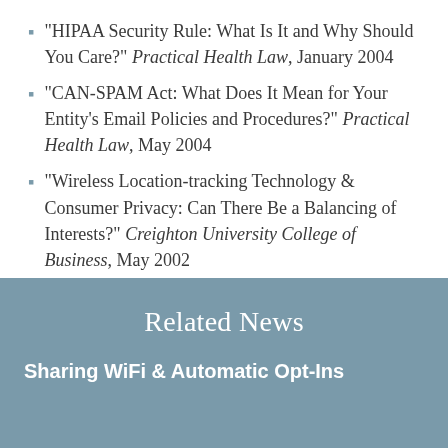“HIPAA Security Rule: What Is It and Why Should You Care?” Practical Health Law, January 2004
“CAN-SPAM Act: What Does It Mean for Your Entity’s Email Policies and Procedures?” Practical Health Law, May 2004
“Wireless Location-tracking Technology & Consumer Privacy: Can There Be a Balancing of Interests?” Creighton University College of Business, May 2002
Related News
Sharing WiFi & Automatic Opt-Ins